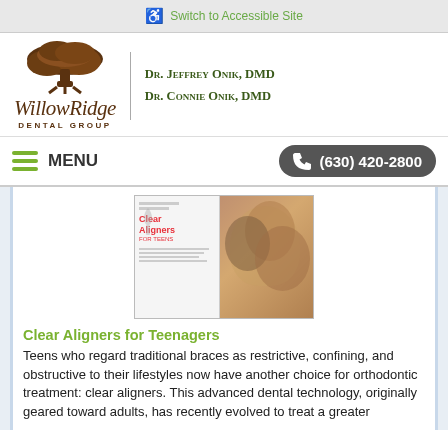Switch to Accessible Site
[Figure (logo): Willow Ridge Dental Group logo with tree illustration, script text 'Willow Ridge' and 'DENTAL GROUP', with Dr. Jeffrey Onik, DMD and Dr. Connie Onik, DMD]
MENU  (630) 420-2800
[Figure (photo): Brochure cover showing 'Clear Aligners for Teens' with a group of smiling teenagers and an image of clear aligners]
Clear Aligners for Teenagers
Teens who regard traditional braces as restrictive, confining, and obstructive to their lifestyles now have another choice for orthodontic treatment: clear aligners. This advanced dental technology, originally geared toward adults, has recently evolved to treat a greater